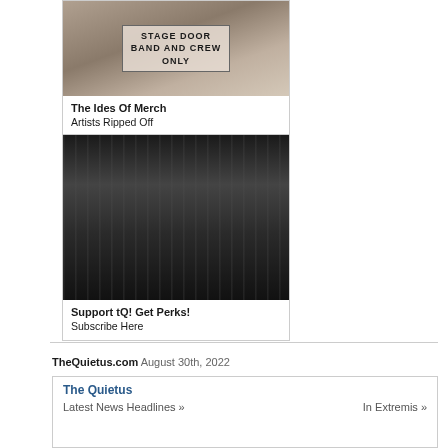[Figure (photo): Black and white photo of a stage door sign reading STAGE DOOR BAND AND CREW ONLY]
The Ides Of Merch
Artists Ripped Off
[Figure (photo): Black and white photo of people dancing at a venue]
Support tQ! Get Perks!
Subscribe Here
TheQuietus.com August 30th, 2022
The Quietus
Latest News Headlines »
In Extremis »